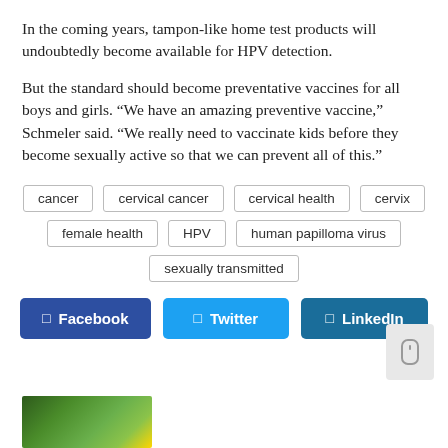In the coming years, tampon-like home test products will undoubtedly become available for HPV detection.
But the standard should become preventative vaccines for all boys and girls. “We have an amazing preventive vaccine,” Schmeler said. “We really need to vaccinate kids before they become sexually active so that we can prevent all of this.”
cancer
cervical cancer
cervical health
cervix
female health
HPV
human papilloma virus
sexually transmitted
[Figure (other): Social share buttons for Facebook, Twitter, and LinkedIn]
[Figure (photo): Partial image of outdoor greenery/nature scene at bottom left]